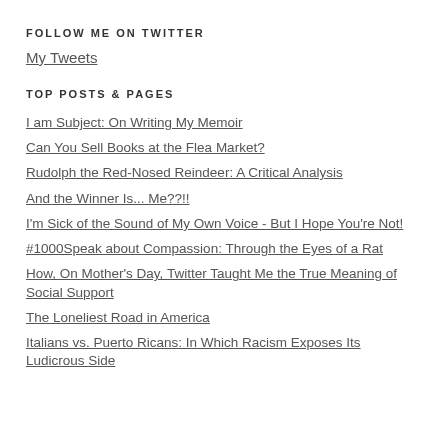FOLLOW ME ON TWITTER
My Tweets
TOP POSTS & PAGES
I am Subject: On Writing My Memoir
Can You Sell Books at the Flea Market?
Rudolph the Red-Nosed Reindeer: A Critical Analysis
And the Winner Is... Me??!!
I'm Sick of the Sound of My Own Voice - But I Hope You're Not!
#1000Speak about Compassion: Through the Eyes of a Rat
How, On Mother's Day, Twitter Taught Me the True Meaning of Social Support
The Loneliest Road in America
Italians vs. Puerto Ricans: In Which Racism Exposes Its Ludicrous Side